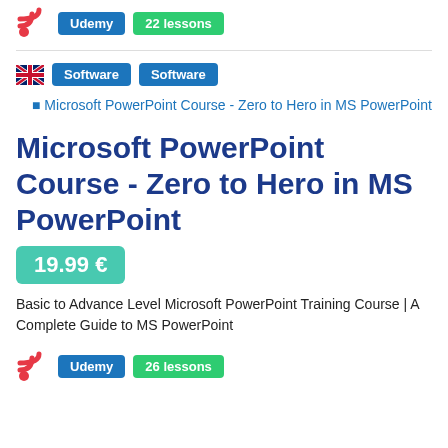[Figure (other): RSS/podcast icon (red) followed by Udemy badge and 22 lessons badge at the top of the page]
[Figure (other): UK flag emoji, two blue Software badges]
[Figure (other): Broken image placeholder link reading: Microsoft PowerPoint Course - Zero to Hero in MS PowerPoint]
Microsoft PowerPoint Course - Zero to Hero in MS PowerPoint
19.99 €
Basic to Advance Level Microsoft PowerPoint Training Course | A Complete Guide to MS PowerPoint
[Figure (other): RSS icon (red) followed by Udemy badge and 26 lessons badge at the bottom of the page]